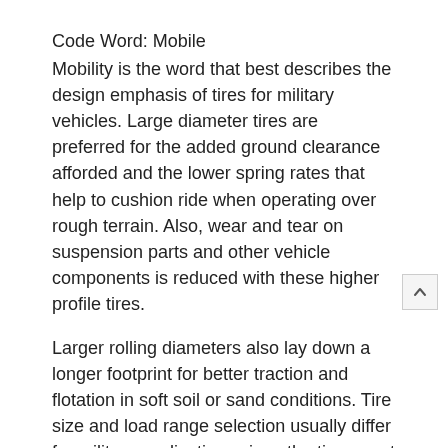Code Word: Mobile
Mobility is the word that best describes the design emphasis of tires for military vehicles. Large diameter tires are preferred for the added ground clearance afforded and the lower spring rates that help to cushion ride when operating over rough terrain. Also, wear and tear on suspension parts and other vehicle components is reduced with these higher profile tires.
Larger rolling diameters also lay down a longer footprint for better traction and flotation in soft soil or sand conditions. Tire size and load range selection usually differ for military applications since the tires must be capable of operating at low inflation pressures while maintaining a full load.
Sidewall designs are also different for many military tire applications. First, long-term weathering resistance is